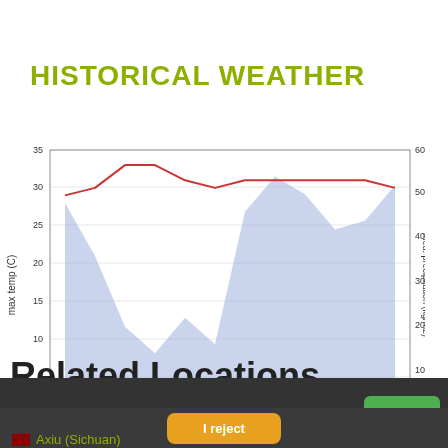HISTORICAL WEATHER
[Figure (line-chart): Historical Weather]
Related Locations
Our website uses cookies. Click here for more information
I accept
I reject
Axiu (Sichuan)